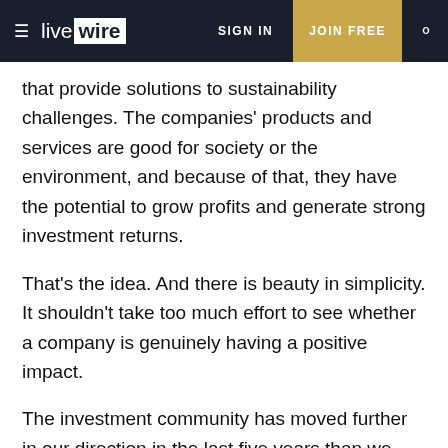livewire | SIGN IN | JOIN FREE
that provide solutions to sustainability challenges. The companies' products and services are good for society or the environment, and because of that, they have the potential to grow profits and generate strong investment returns.
That's the idea. And there is beauty in simplicity. It shouldn't take too much effort to see whether a company is genuinely having a positive impact.
The investment community has moved further in our direction in the last five years than we ever thought was possible. But we are still often amazed that some investors make this so complicated.
During the quarter, we read some great research from Morningstar and Morgan Stanley. They looked at the